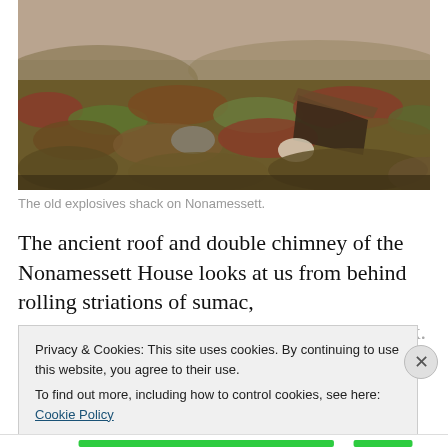[Figure (photo): Landscape photograph showing the old explosives shack on Nonamessett island. The scene shows scrubby heathland vegetation with low shrubs in autumn colors of red, brown and green. In the right-center of the image, a collapsed or heavily leaning wooden structure with a dark metal roof is visible among the vegetation. The sky is hazy/overcast.]
The old explosives shack on Nonamessett.
The ancient roof and double chimney of the Nonamessett House looks at us from behind rolling striations of sumac, bayberry, little bluestem, roses, and scrub oak.
Privacy & Cookies: This site uses cookies. By continuing to use this website, you agree to their use.
To find out more, including how to control cookies, see here: Cookie Policy
Close and accept